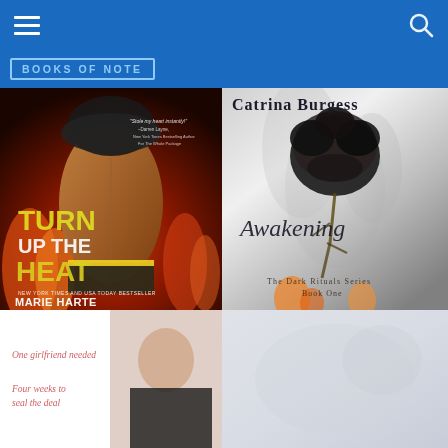BOOKS OF NOTE
[Figure (photo): Book cover: Turn Up the Heat by Marie Harte. Shows a muscular man from behind wearing a firefighter helmet, with flames in the background. Text reads: TURN UP THE HEAT, NEW YORK TIMES AND USA TODAY BESTSELLER, MARIE HARTE. Quote: 'Stole my heart instantly!' – Darren Layne, New York Times Bestselling Author of For The Whole Package]
[Figure (photo): Book cover: Awakening by Catrina Burgess. Dark atmospheric cover with a black rose, smoke, and flames. Subtitle: The Dark Rituals Series, Book One.]
[Figure (photo): Partial book cover showing a woman in a black dress with pink italic text: 'One girlfriend needed', 'Four weeks to seal the deal']
[Figure (photo): Partial right-side image, light gray/blue toned, appears to be another book cover partially visible]